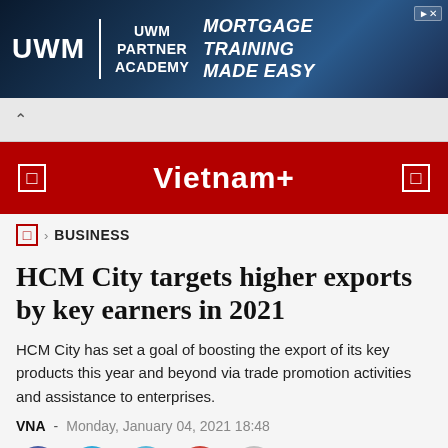[Figure (illustration): UWM advertisement banner with dark blue geometric background. Shows UWM logo on left, vertical divider, 'UWM PARTNER ACADEMY' text in center, and 'MORTGAGE TRAINING MADE EASY' in bold italic on right. Small ad corner marker top-right.]
^ (collapse/scroll control bar)
Vietnam+
BUSINESS
HCM City targets higher exports by key earners in 2021
HCM City has set a goal of boosting the export of its key products this year and beyond via trade promotion activities and assistance to enterprises.
VNA  -  Monday, January 04, 2021 18:48